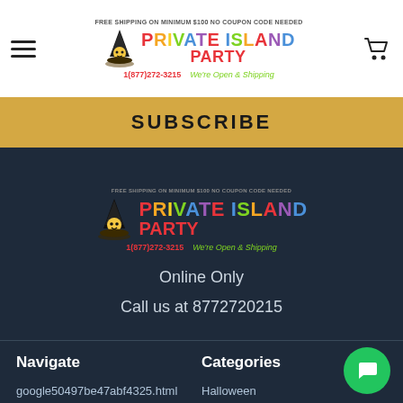FREE SHIPPING ON MINIMUM $100 NO COUPON CODE NEEDED | PRIVATE ISLAND PARTY 1(877)272-3215 We're Open & Shipping
SUBSCRIBE
[Figure (logo): Private Island Party logo with wizard graphic, colorful text, phone number 1(877)272-3215 and We're Open & Shipping tagline]
Online Only
Call us at 8772720215
Navigate
Categories
google50497be47abf4325.html
Private Island Party Blog
Halloween
Holidays